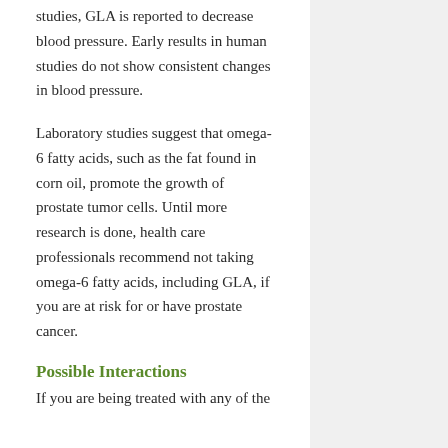studies, GLA is reported to decrease blood pressure. Early results in human studies do not show consistent changes in blood pressure.
Laboratory studies suggest that omega-6 fatty acids, such as the fat found in corn oil, promote the growth of prostate tumor cells. Until more research is done, health care professionals recommend not taking omega-6 fatty acids, including GLA, if you are at risk for or have prostate cancer.
Possible Interactions
If you are being treated with any of the